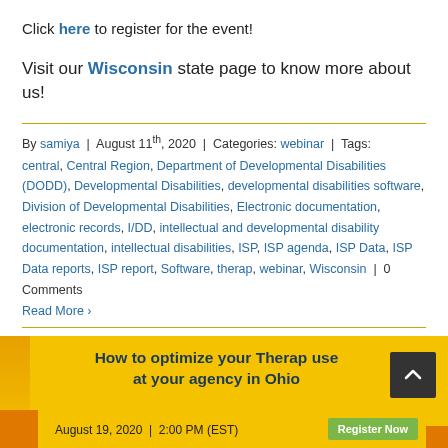Click here to register for the event!
Visit our Wisconsin state page to know more about us!
By samiya  |  August 11th, 2020  |  Categories: webinar  |  Tags: central, Central Region, Department of Developmental Disabilities (DODD), Developmental Disabilities, developmental disabilities software, Division of Developmental Disabilities, Electronic documentation, electronic records, I/DD, intellectual and developmental disability documentation, intellectual disabilities, ISP, ISP agenda, ISP Data, ISP Data reports, ISP report, Software, therap, webinar, Wisconsin  |  0 Comments
Read More >
[Figure (infographic): Yellow banner promoting 'How to optimize your Therap use at your agency in Ohio' webinar on August 19, 2020 at 2:00 PM (EST) with a Register Now button]